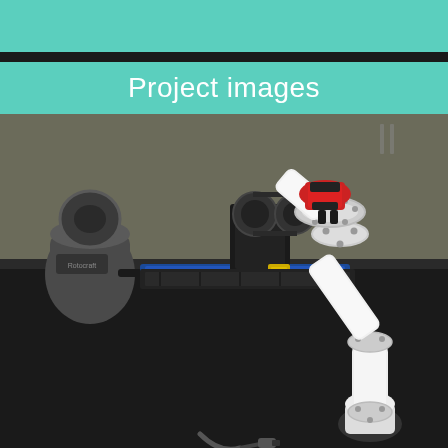Project images
[Figure (photo): Photo of a robotic arm setup on a black table. The scene shows a white multi-joint robotic manipulator arm with red accents on the right side, a Rotocraft or similar sensor device (gray, with a circular sensor head and a blue illuminated probe) on the left, and mechanical linkage/pulley assembly in the center-background. The robot arm base is at the bottom right with a cable connector visible at the bottom center.]